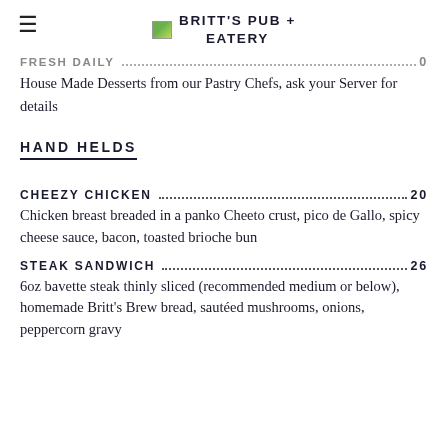BRITT'S PUB + EATERY
FRESH DAILY
House Made Desserts from our Pastry Chefs, ask your Server for details
HAND HELDS
CHEEZY CHICKEN .... 20
Chicken breast breaded in a panko Cheeto crust, pico de Gallo, spicy cheese sauce, bacon, toasted brioche bun
STEAK SANDWICH .... 26
6oz bavette steak thinly sliced (recommended medium or below), homemade Britt's Brew bread, sautéed mushrooms, onions, peppercorn gravy